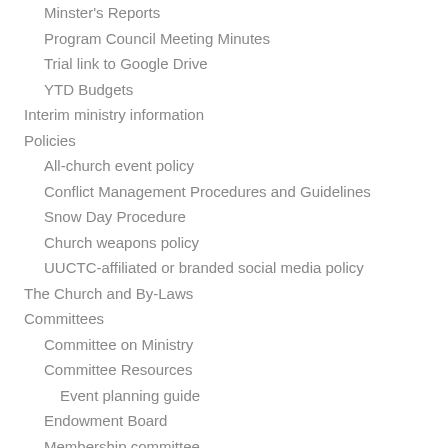Minster's Reports
Program Council Meeting Minutes
Trial link to Google Drive
YTD Budgets
Interim ministry information
Policies
All-church event policy
Conflict Management Procedures and Guidelines
Snow Day Procedure
Church weapons policy
UUCTC-affiliated or branded social media policy
The Church and By-Laws
Committees
Committee on Ministry
Committee Resources
Event planning guide
Endowment Board
Membership committee
Nominating Committee
Program Council
Service Auction Committee